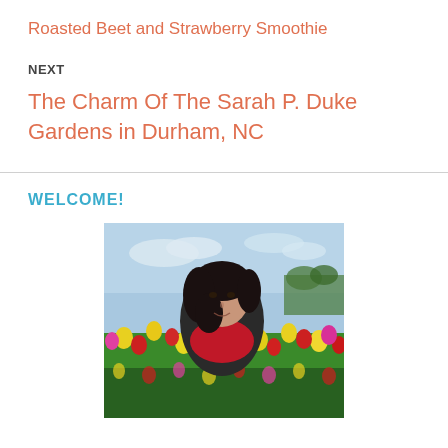Roasted Beet and Strawberry Smoothie
NEXT
The Charm Of The Sarah P. Duke Gardens in Durham, NC
WELCOME!
[Figure (photo): A young woman with dark hair and a red scarf smiling in a colorful tulip field with yellow, red, and pink flowers and green foliage in the background under a partly cloudy sky.]